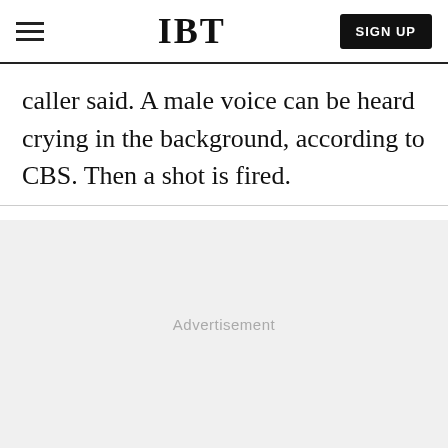IBT | SIGN UP
caller said. A male voice can be heard crying in the background, according to CBS. Then a shot is fired.
[Figure (other): Advertisement placeholder area with light gray background and 'Advertisement' label text centered]